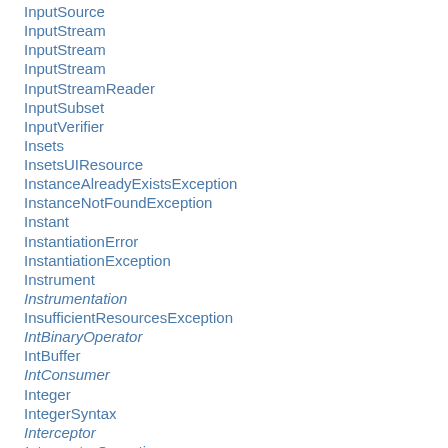InputSource
InputStream
InputStream
InputStream
InputStreamReader
InputSubset
InputVerifier
Insets
InsetsUIResource
InstanceAlreadyExistsException
InstanceNotFoundException
Instant
InstantiationError
InstantiationException
Instrument
Instrumentation
InsufficientResourcesException
IntBinaryOperator
IntBuffer
IntConsumer
Integer
IntegerSyntax
Interceptor
InterceptorOperations
InterfaceAddress
INTERNAL
InternalError
InternalFrameAdapter